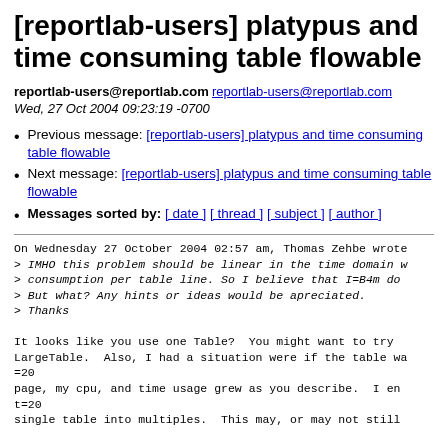[reportlab-users] platypus and time consuming table flowable
reportlab-users@reportlab.com reportlab-users@reportlab.com
Wed, 27 Oct 2004 09:23:19 -0700
Previous message: [reportlab-users] platypus and time consuming table flowable
Next message: [reportlab-users] platypus and time consuming table flowable
Messages sorted by: [ date ] [ thread ] [ subject ] [ author ]
On Wednesday 27 October 2004 02:57 am, Thomas Zehbe wrote:
> IMHO this problem should be linear in the time domain w
> consumption per table line. So I believe that I=B4m do
> But what? Any hints or ideas would be apreciated.
> Thanks

It looks like you use one Table?  You might want to try 
LargeTable.  Also, I had a situation were if the table wa
=20
page, my cpu, and time usage grew as you describe.  I en
t=20
single table into multiples.  This may, or may not still